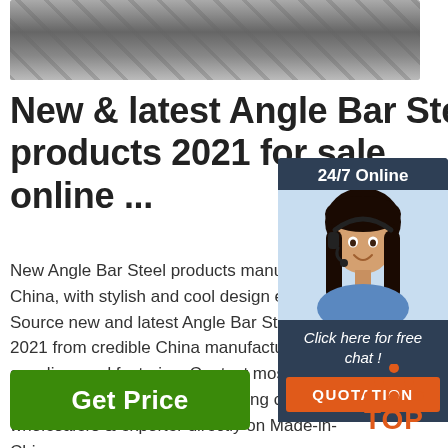[Figure (photo): Photo of steel angle bar products, metallic gray bars arranged diagonally with an orange/rust accent]
New & latest Angle Bar Steel products 2021 for sale online ...
New Angle Bar Steel products manufacturers from China, with stylish and cool design emerge. Source new and latest Angle Bar Steel products 2021 from credible China manufacturers, suppliers and factories. Contact most popular products of manufacturers, trading companies, wholesalers & exporter directly on Made-in-China.com
[Figure (other): 24/7 Online chat widget with customer service representative photo, 'Click here for free chat!' text, and QUOTATION button]
Get Price
[Figure (logo): TOP logo with orange triangle dots icon above the word TOP in orange]